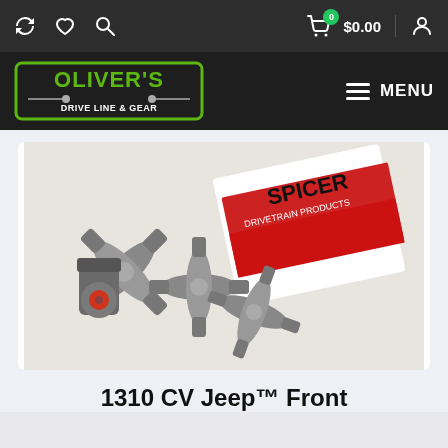Oliver's Drive Line & Gear — navigation header with cart $0.00 and MENU
[Figure (photo): Product photo showing multiple Spicer u-joint crosses/CV joints and a Spicer Drivetrain Products red and white branded box on a light surface]
1310 CV Jeep™ Front